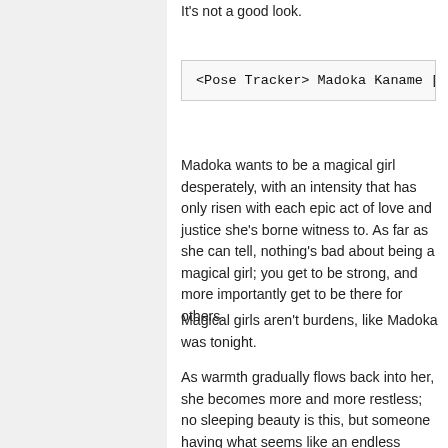It's not a good look.
<Pose Tracker> Madoka Kaname [C
Madoka wants to be a magical girl desperately, with an intensity that has only risen with each epic act of love and justice she's borne witness to. As far as she can tell, nothing's bad about being a magical girl; you get to be strong, and more importantly get to be there for others.
Magical girls aren't burdens, like Madoka was tonight.
As warmth gradually flows back into her, she becomes more and more restless; no sleeping beauty is this, but someone having what seems like an endless